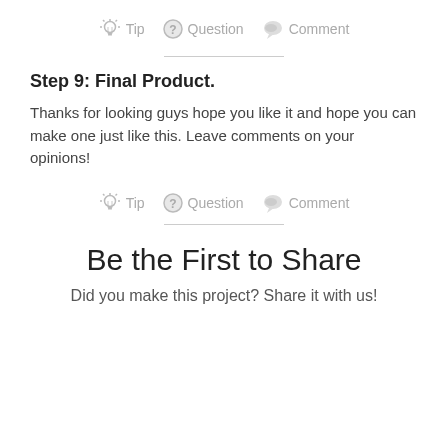Tip  Question  Comment
Step 9: Final Product.
Thanks for looking guys hope you like it and hope you can make one just like this. Leave comments on your opinions!
Tip  Question  Comment
Be the First to Share
Did you make this project? Share it with us!